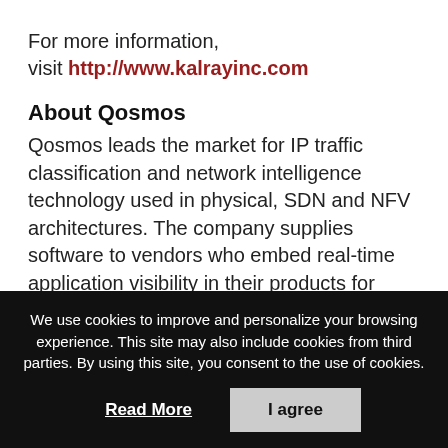For more information, visit http://www.kalrayinc.com
About Qosmos
Qosmos leads the market for IP traffic classification and network intelligence technology used in physical, SDN and NFV architectures. The company supplies software to vendors who embed real-time application visibility in their products for traffic optimization, service chaining, quality of service, analytics, cyber security and more. Qosmos customers benefit from fast time to market and continuous
We use cookies to improve and personalize your browsing experience. This site may also include cookies from third parties. By using this site, you consent to the use of cookies.
Read More
I agree